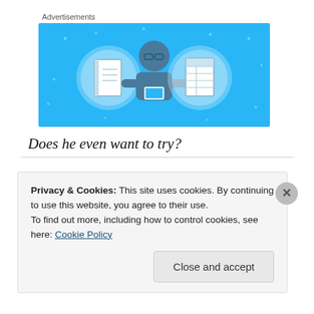Advertisements
[Figure (illustration): Advertisement banner with blue background showing a cartoon person holding a phone, flanked by two circular icons: one with a notebook and one with a lined document/spreadsheet.]
Does he even want to try?
Privacy & Cookies: This site uses cookies. By continuing to use this website, you agree to their use.
To find out more, including how to control cookies, see here: Cookie Policy